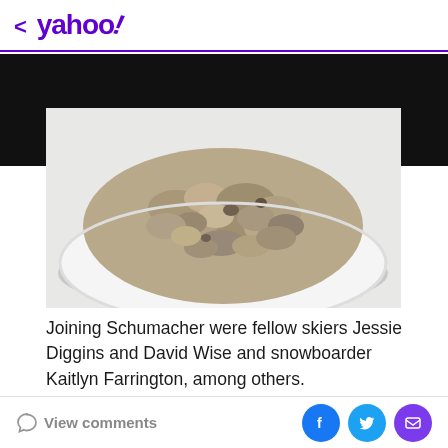< yahoo!
[Figure (photo): A white bowl filled with cooked oatmeal/porridge, viewed from above, on a white surface.]
Joining Schumacher were fellow skiers Jessie Diggins and David Wise and snowboarder Kaitlyn Farrington, among others.
Th...
View comments